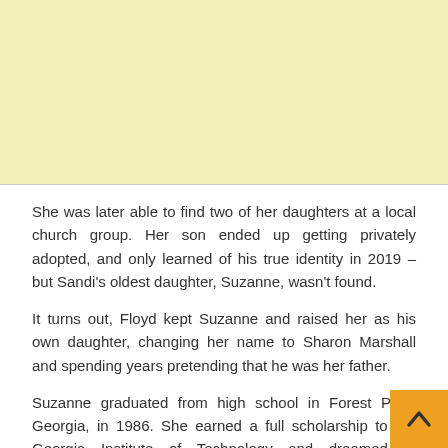[Figure (other): Yellow/cream colored advertisement banner at the top of the page]
She was later able to find two of her daughters at a local church group. Her son ended up getting privately adopted, and only learned of his true identity in 2019 – but Sandi's oldest daughter, Suzanne, wasn't found.
It turns out, Floyd kept Suzanne and raised her as his own daughter, changing her name to Sharon Marshall and spending years pretending that he was her father.
Suzanne graduated from high school in Forest Park, Georgia, in 1986. She earned a full scholarship to the Georgia Institute of Technology and dreamed of becoming an aerospace engineer, but she never ended up attending the school.
Instead, Floyd forced her to move to Tampa, Florida, him after she got pregnant, where she began working as an